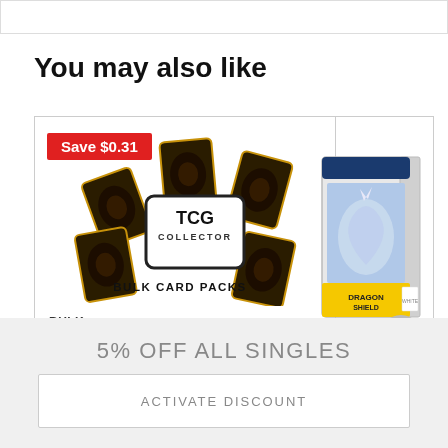You may also like
[Figure (screenshot): Product card for Bulk YUGIOH Card Packs with TCG Collector branding, showing multiple Yu-Gi-Oh card backs arranged around a TCG Collector Bulk Card Packs logo. A red badge reads Save $0.31.]
BULK
Bulk YUGIOH Card Packs - 40
[Figure (photo): Dragon Shield card sleeve box product image, partially visible on the right side of the screen.]
DRAGON SHIELD
5% OFF ALL SINGLES
ACTIVATE DISCOUNT